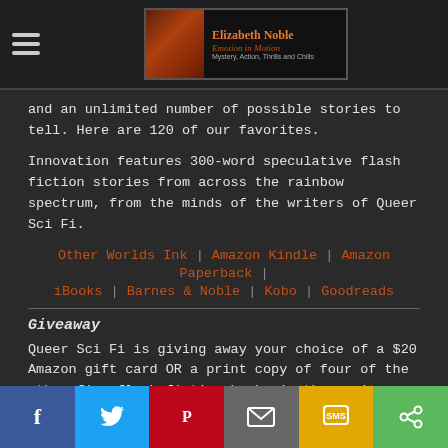Elizabeth Noble | Emotion in Motion | Mystery, Action, Thrills and Chills
and an unlimited number of possible stories to tell. Here are 120 of our favorites.
Innovation features 300-word speculative flash fiction stories from across the rainbow spectrum, from the minds of the writers of Queer Sci Fi.
Other Worlds Ink | Amazon Kindle | Amazon Paperback | iBooks | Barnes & Noble | Kobo | Goodreads
Giveaway
Queer Sci Fi is giving away your choice of a $20 Amazon gift card OR a print copy of four of the other five flash fiction books in the series – Flight, Renewal, Impact, and Migration (US only unless you
f | Twitter | Pinterest | Email | SMS | Share